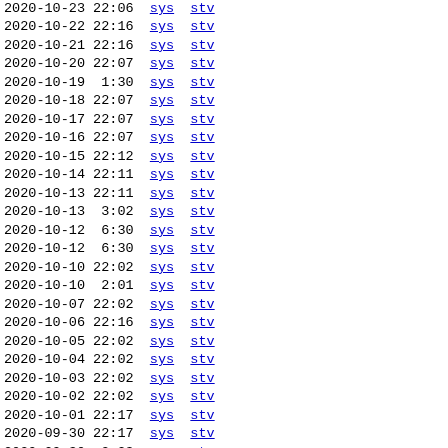2020-10-23 22:06  sys stv
2020-10-22 22:16  sys stv
2020-10-21 22:16  sys stv
2020-10-20 22:07  sys stv
2020-10-19  1:30  sys stv
2020-10-18 22:07  sys stv
2020-10-17 22:07  sys stv
2020-10-16 22:07  sys stv
2020-10-15 22:12  sys stv
2020-10-14 22:11  sys stv
2020-10-13 22:11  sys stv
2020-10-13  3:02  sys stv
2020-10-12  6:30  sys stv
2020-10-12  6:30  sys stv
2020-10-10 22:02  sys stv
2020-10-10  2:01  sys stv
2020-10-07 22:02  sys stv
2020-10-06 22:16  sys stv
2020-10-05 22:02  sys stv
2020-10-04 22:02  sys stv
2020-10-03 22:02  sys stv
2020-10-02 22:02  sys stv
2020-10-01 22:17  sys stv
2020-09-30 22:17  sys stv
2020-09-30  2:23  sys stv
2020-09-28 22:02  sys stv
2020-09-27 22:03  sys stv
2020-09-26 22:02  sys stv
2020-09-24 22:02  sys stv
2020-09-23 22:02  sys stv